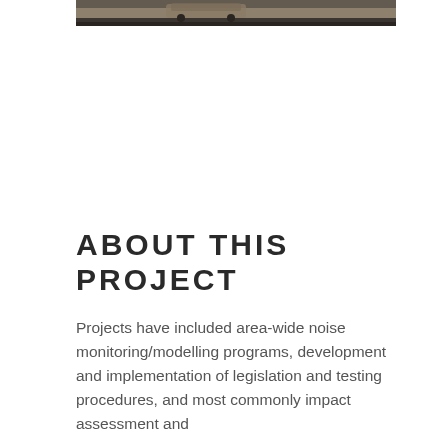[Figure (photo): A vehicle on a road, photo strip visible at the top of the page — partial view showing road and a brownish/tan vehicle.]
ABOUT THIS PROJECT
Projects have included area-wide noise monitoring/modelling programs, development and implementation of legislation and testing procedures, and most commonly impact assessment and